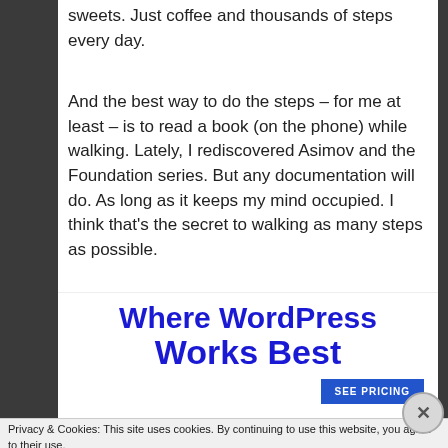sweets. Just coffee and thousands of steps every day.
And the best way to do the steps – for me at least – is to read a book (on the phone) while walking. Lately, I rediscovered Asimov and the Foundation series. But any documentation will do. As long as it keeps my mind occupied. I think that's the secret to walking as many steps as possible.
[Figure (screenshot): Advertisement banner showing 'Where WordPress Works Best' in large dark blue bold text with a SEE PRICING button]
Privacy & Cookies: This site uses cookies. By continuing to use this website, you agree to their use.
To find out more, including how to control cookies, see here: Cookie Policy
Close and accept